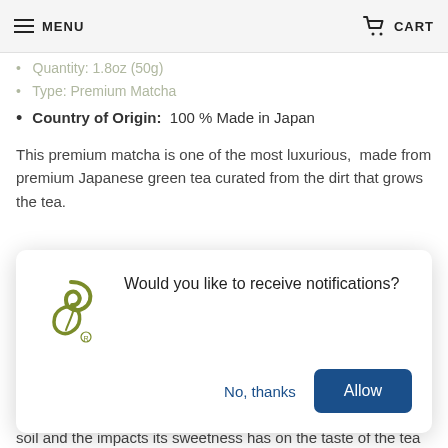MENU   CART
Quantity: 1.8oz (50g)
Type: Premium Matcha
Country of Origin: 100 % Made in Japan
This premium matcha is one of the most luxurious, made from premium Japanese green tea curated from the dirt that grows the tea.
[Figure (infographic): Browser notification prompt popup with a stylized green tea leaf logo icon, text 'Would you like to receive notifications?', and two buttons: 'No, thanks' (blue text) and 'Allow' (white text on dark blue button).]
soil and the impacts its sweetness has on the taste of the tea it cultivates.
This premium matcha is loved by many top chefs in Japan as it is tuned to provide more aroma than any others on the market.